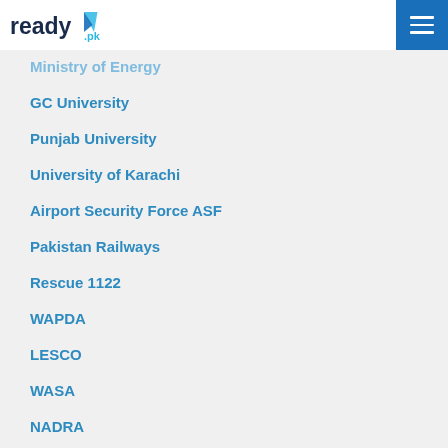ready.pk
Ministry of Energy
GC University
Punjab University
University of Karachi
Airport Security Force ASF
Pakistan Railways
Rescue 1122
WAPDA
LESCO
WASA
NADRA